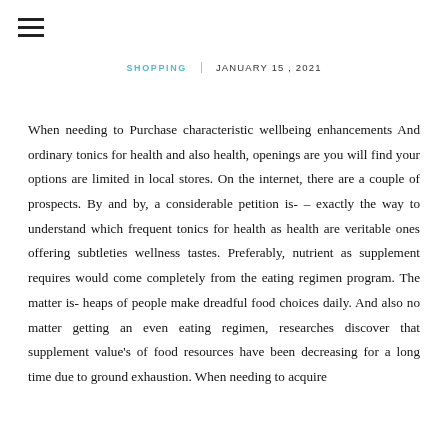SHOPPING   JANUARY 15, 2021
When needing to Purchase characteristic wellbeing enhancements And ordinary tonics for health and also health, openings are you will find your options are limited in local stores. On the internet, there are a couple of prospects. By and by, a considerable petition is- – exactly the way to understand which frequent tonics for health as health are veritable ones offering subtleties wellness tastes. Preferably, nutrient as supplement requires would come completely from the eating regimen program. The matter is- heaps of people make dreadful food choices daily. And also no matter getting an even eating regimen, researches discover that supplement value's of food resources have been decreasing for a long time due to ground exhaustion. When needing to acquire